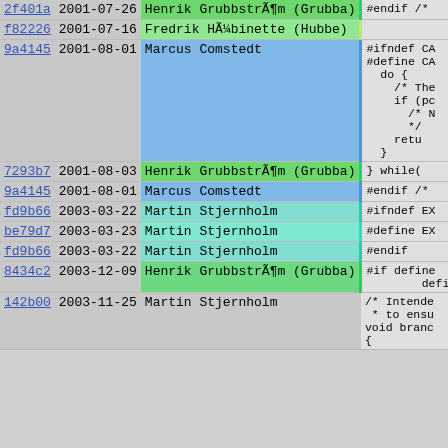| hash | date | author | code |
| --- | --- | --- | --- |
| 2f401a | 2001-07-26 | Henrik GrubbstrÃ¶m (Grubba) | #endif /* |
| f82226 | 2001-07-16 | Fredrik HÃ¼binette (Hubbe) |  |
| 9a4145 | 2001-08-01 | Marcus Comstedt | #ifndef CA
#define CA
  do {
    /* The
    if (pc
      /* N
      */
    retu
  } |
| 7293b7 | 2001-08-03 | Henrik GrubbstrÃ¶m (Grubba) | } while( |
| 9a4145 | 2001-08-01 | Marcus Comstedt | #endif /* |
| fd9b66 | 2003-03-22 | Martin Stjernholm | #ifndef EX |
| be79d7 | 2003-03-23 | Martin Stjernholm | #define EX |
| fd9b66 | 2003-03-22 | Martin Stjernholm | #endif |
| 8434c2 | 2003-12-09 | Henrik GrubbstrÃ¶m (Grubba) | #if define
        define |
| 142b00 | 2003-11-25 | Martin Stjernholm | /* Intende
 * to ensu
void branc
{ |